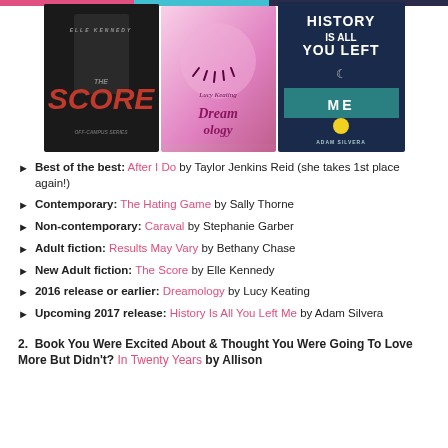[Figure (illustration): Three book covers displayed side by side: 'The Score' by Elle Kennedy (black and white), 'Dreamology' by Lucy Keating (pink illustrated cover), and 'History Is All You Left Me' by Adam Silvera (dark blue cover)]
Best of the best: After I Do by Taylor Jenkins Reid (she takes 1st place again!)
Contemporary: The Hating Game by Sally Thorne
Non-contemporary: Caraval by Stephanie Garber
Adult fiction: Results May Vary by Bethany Chase
New Adult fiction: The Score by Elle Kennedy
2016 release or earlier: Dreamology by Lucy Keating
Upcoming 2017 release: History Is All You Left Me by Adam Silvera
2. Book You Were Excited About & Thought You Were Going To Love More But Didn't? In Twenty Years by Allison